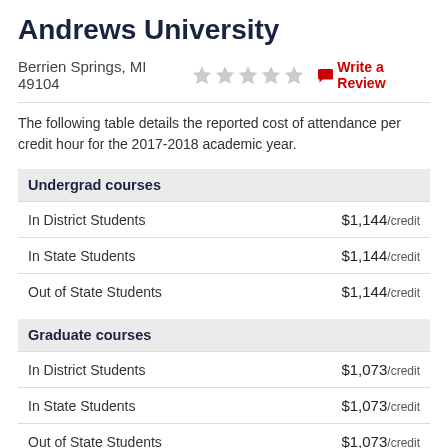Andrews University
Berrien Springs, MI 49104   ★☆☆☆☆   Write a Review
The following table details the reported cost of attendance per credit hour for the 2017-2018 academic year.
| Category | Rate |
| --- | --- |
| Undergrad courses |  |
| In District Students | $1,144/credit |
| In State Students | $1,144/credit |
| Out of State Students | $1,144/credit |
| Graduate courses |  |
| In District Students | $1,073/credit |
| In State Students | $1,073/credit |
| Out of State Students | $1,073/credit |